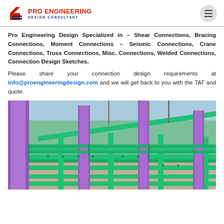Pro Engineering Design Consultant
Pro Engineering Design Specialized in – Shear Connections, Bracing Connections, Moment Connections – Seismic Connections, Crane Connections, Truss Connections, Misc. Connections, Welded Connections, Connection Design Sketches.
Please share your connection design requirements at info@proengineeringdesign.com and we will get back to you with the TAT and quote.
[Figure (photo): 3D structural steel model showing green steel beams and purple vertical columns in a BIM rendering of a structural connection design]